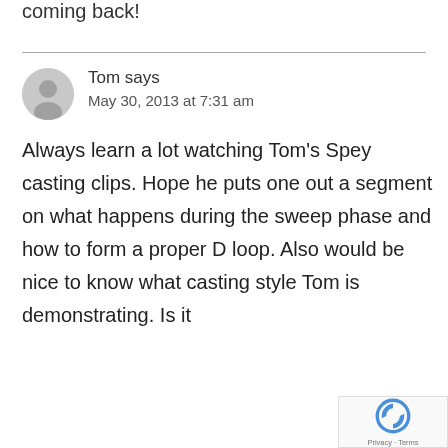coming back!
Tom says
May 30, 2013 at 7:31 am
Always learn a lot watching Tom's Spey casting clips. Hope he puts one out a segment on what happens during the sweep phase and how to form a proper D loop. Also would be nice to know what casting style Tom is demonstrating. Is it